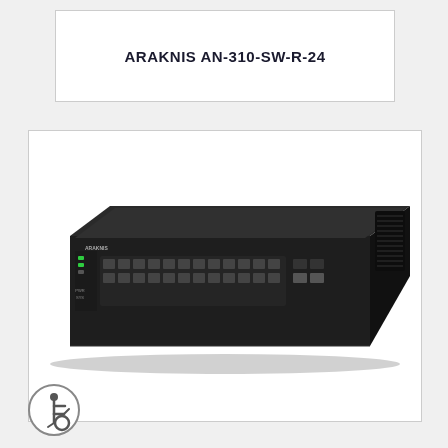ARAKNIS AN-310-SW-R-24
[Figure (photo): Araknis AN-310-SW-R-24 24-port network switch, black rack-mount unit with multiple RJ45 ports on the front panel and a cooling fan on the right side, shown in a 3/4 perspective view.]